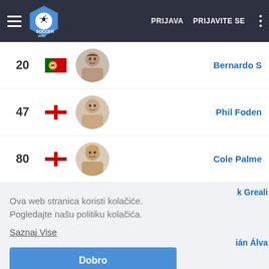Soccer Wiki — PRIJAVA PRIJAVITE SE
20 [Portugal flag] Bernardo S
47 [England flag] Phil Foden
80 [England flag] Cole Palme
k Greali
Ova web stranica koristi kolačiće. Pogledajte našu politiku kolačića.
Saznaj Vise
Dobro
ián Álva
ip
vanović